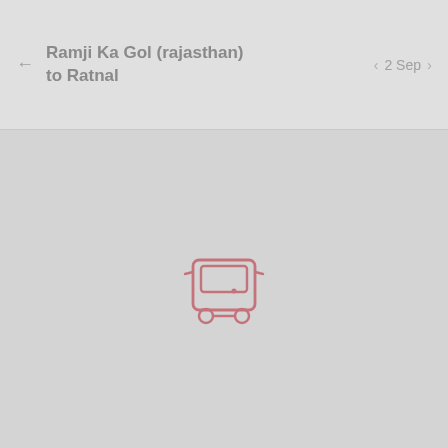← Ramji Ka Gol (rajasthan) to Ratnal   ‹ 2 Sep ›
[Figure (illustration): A pink/rose-colored bus icon (front view) centered on a light gray background, indicating no buses found for this route.]